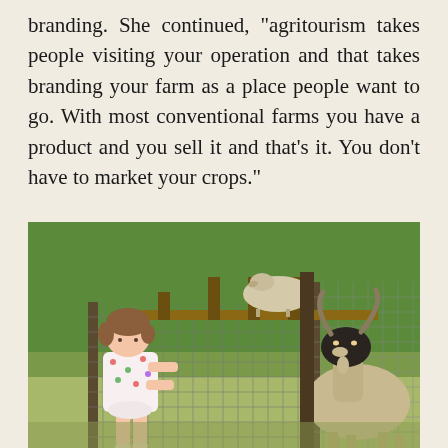branding. She continued, "agritourism takes people visiting your operation and that takes branding your farm as a place people want to go. With most conventional farms you have a product and you sell it and that's it. You don't have to market your crops."
[Figure (photo): A young girl in a floral outfit stands at a wire fence looking at goats on a farm. One goat stands on an elevated wooden platform inside a fenced pen, while another large goat with horns stands facing the camera on the right side of the fence. Green trees are visible in the background.]